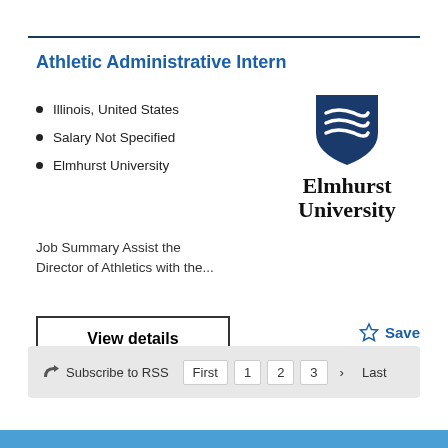Athletic Administrative Intern
Illinois, United States
Salary Not Specified
Elmhurst University
[Figure (logo): Elmhurst University logo with shield icon and university name in serif font]
Job Summary Assist the Director of Athletics with the...
View details
☆ Save
Subscribe to RSS   First   1   2   3   >   Last